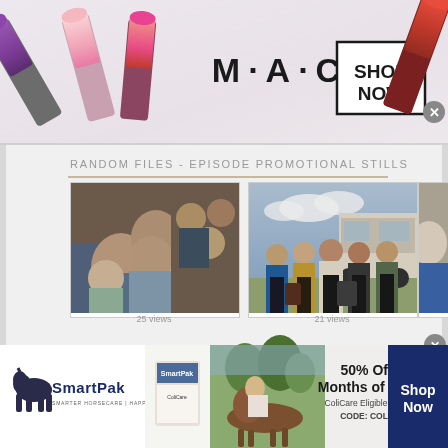[Figure (photo): MAC cosmetics advertisement banner with lipsticks on left and right sides, MAC logo and SHOP NOW button in center. Top banner ad.]
RANDOM FILES - EPISODE PROMOTIONAL STILLS
[Figure (photo): Promotional still showing crowd of people looking up, woman in foreground with binoculars wearing blue dress. 25 views.]
[Figure (photo): Promotional still showing group of men in 1960s style clothing standing outdoors near a bus. 21 views.]
[Figure (photo): Partial promotional still showing man in suit, cropped at right edge.]
25 views
21 views
[Figure (photo): SmartPak advertisement. 50% Off Two Months of ColiCare. ColiCare Eligible Supplements. CODE: COLICARE10. Shop Now button. Shows horse and rider image.]